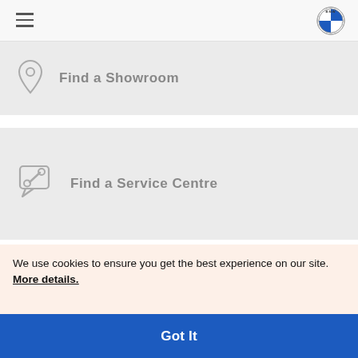BMW navigation bar with hamburger menu and BMW logo
Find a Showroom
Find a Service Centre
Share on
We use cookies to ensure you get the best experience on our site. More details.
Got It